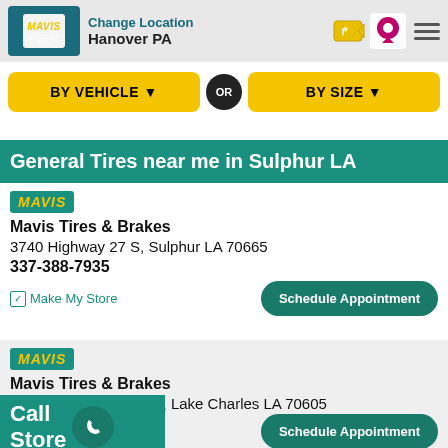Change Location / Hanover PA
BY VEHICLE ▼  OR  BY SIZE ▼
General Tires near me in Sulphur LA
MAVIS
Mavis Tires & Brakes
3740 Highway 27 S, Sulphur LA 70665
337-388-7935
Make My Store   Schedule Appointment
MAVIS
Mavis Tires & Brakes
1324 Country Club Rd., Lake Charles LA 70605
Call Store   Schedule Appointment